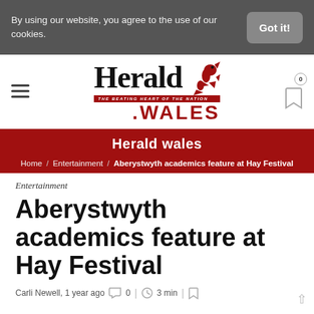By using our website, you agree to the use of our cookies.
Got it!
[Figure (logo): Herald Wales newspaper logo with red dragon and tagline 'The Beating Heart of the Nation']
Herald wales
Home / Entertainment / Aberystwyth academics feature at Hay Festival
Entertainment
Aberystwyth academics feature at Hay Festival
Carli Newell, 1 year ago   0  |  3 min  |